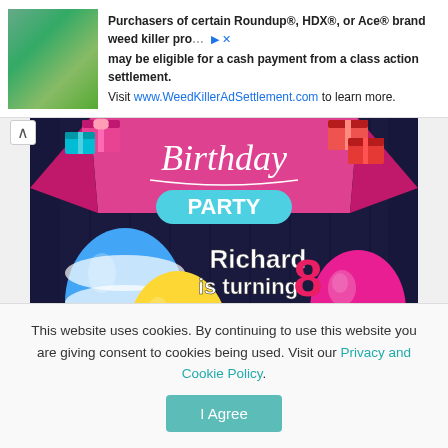[Figure (infographic): Advertisement banner: Roundup/HDX/Ace weed killer class action settlement. Text: Purchasers of certain Roundup®, HDX®, or Ace® brand weed killer products may be eligible for a cash payment from a class action settlement. Visit www.WeedKillerAdSettlement.com to learn more.]
[Figure (illustration): Birthday party invitation card. Dark navy background with pink ribbon banner saying 'Birthday PARTY'. Colorful gift boxes in top corners. Blue striped balloon and yellow polka-dot balloon on left. Pink balloon on right. Text: Richard is turning 8, FRI · OCTOBER · 3PM, HEADQUARTER, 428 Henry Smith Ave., Palm Bay, FL 32907. Footer: FREE INVITATION TEMPLATES - BAGVANIA.COM]
This website uses cookies. By continuing to use this website you are giving consent to cookies being used. Visit our Privacy and Cookie Policy.